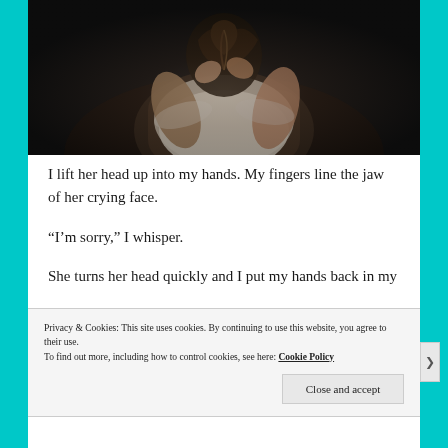[Figure (photo): A person with braided hair holding their head down in distress, wearing a white shirt, photographed against a dark background.]
I lift her head up into my hands. My fingers line the jaw of her crying face.
“I’m sorry,” I whisper.
She turns her head quickly and I put my hands back in my
Privacy & Cookies: This site uses cookies. By continuing to use this website, you agree to their use.
To find out more, including how to control cookies, see here: Cookie Policy
Close and accept